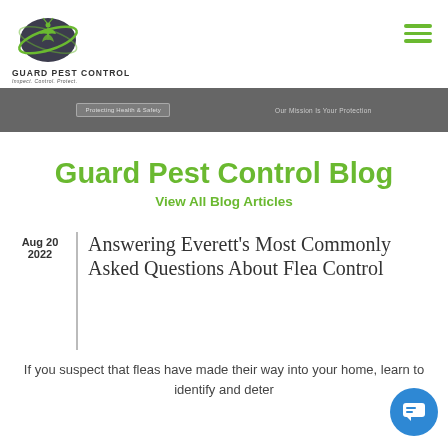[Figure (logo): Guard Pest Control logo with green shield/insect icon and text GUARD PEST CONTROL, Inspect. Control. Protect.]
[Figure (other): Hamburger menu icon with three green horizontal lines]
[Figure (other): Dark gray navigation banner with Protecting Health & Safety pill and Our Mission Is Your Protection text]
Guard Pest Control Blog
View All Blog Articles
Aug 20
2022
Answering Everett's Most Commonly Asked Questions About Flea Control
If you suspect that fleas have made their way into your home, learn to identify and deter